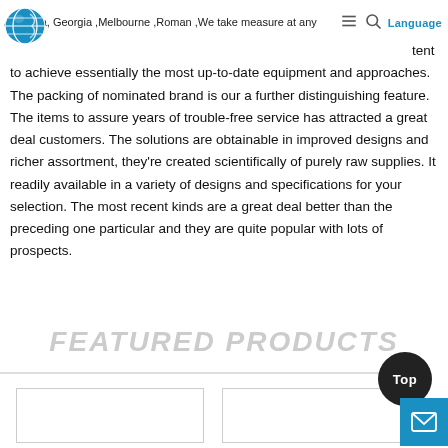Australia, Georgia, Melbourne, Roman | Language
Australia, Georgia ,Melbourne ,Roman ,We take measure at any extent to achieve essentially the most up-to-date equipment and approaches. The packing of nominated brand is our a further distinguishing feature. The items to assure years of trouble-free service has attracted a great deal customers. The solutions are obtainable in improved designs and richer assortment, they're created scientifically of purely raw supplies. It readily available in a variety of designs and specifications for your selection. The most recent kinds are a great deal better than the preceding one particular and they are quite popular with lots of prospects.
FEATURED PRODUCTS
[Figure (screenshot): Two product thumbnail boxes at the bottom of the page, partially visible]